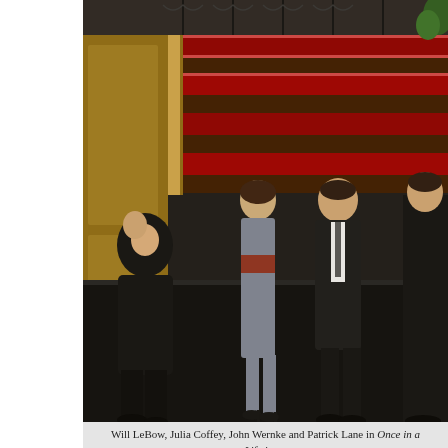[Figure (photo): Theater scene with Will LeBow, Julia Coffey, John Wernke and Patrick Lane on stage with red carpet stairs in background]
Will LeBow, Julia Coffey, John Wernke and Patrick Lane in Once in a Lifetime. Photo by T. Charles Erickson. Directed by Berne.
When the play first came out, talking pictures were still a very new thing. The first talkie, The Jazz Singer, had come out only in 1927. In Once in a Lifetime, a trio of traveling vaudevillians see the innovation as a game-changer and decide the show's over for them. They give up their act and head to Hollywood to take advantage of the chaos to set up a school of elocution for actors who used to think all they had to do was look pretty—they didn't know they'd have to talk.
The vaudevillians don't really know anything about elocution or teaching, which is a promising set up for wacky pedagogical high jinks to ensue. But there's not much of that. It's mostly an excuse to get them to Hollywood for a fluffy all-purpose satire of the movie business full of people with too much money and no idea what they're doing. When the protagonist M...